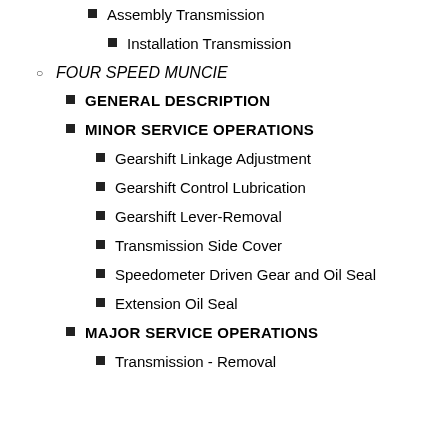Assembly Transmission
Installation Transmission
FOUR SPEED MUNCIE
GENERAL DESCRIPTION
MINOR SERVICE OPERATIONS
Gearshift Linkage Adjustment
Gearshift Control Lubrication
Gearshift Lever-Removal
Transmission Side Cover
Speedometer Driven Gear and Oil Seal
Extension Oil Seal
MAJOR SERVICE OPERATIONS
Transmission - Removal